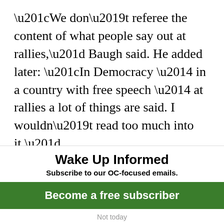“We don’t referee the content of what people say out at rallies,” Baugh said. He added later: “In Democracy — in a country with free speech — at rallies a lot of things are said. I wouldn’t read too much into it.”
Adam Probolsky, a Republican pollster, activist and central committee member said it’s simply not the role of the party to be regulating what its members — or even its
Wake Up Informed
Subscribe to our OC-focused emails.
Become a free subscriber
Not today